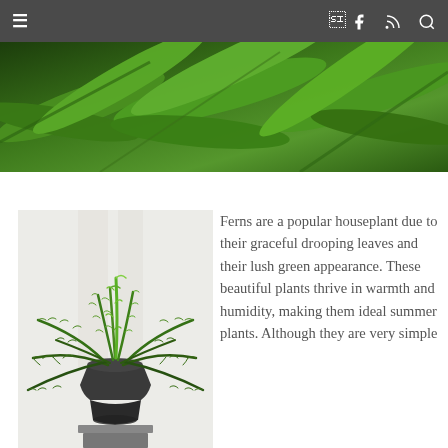≡  f  ⊃  🔍
[Figure (photo): Close-up overhead view of lush green fern fronds filling the frame as a hero banner image]
[Figure (photo): A Boston fern houseplant with graceful drooping green fronds in a dark gray tapered pot, set against a light background]
Ferns are a popular houseplant due to their graceful drooping leaves and their lush green appearance. These beautiful plants thrive in warmth and humidity, making them ideal summer plants. Although they are very simple